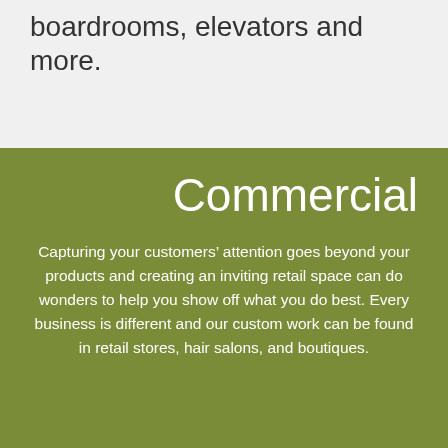boardrooms, elevators and more.
Commercial
Capturing your customers' attention goes beyond your products and creating an inviting retail space can do wonders to help you show off what you do best. Every business is different and our custom work can be found in retail stores, hair salons, and boutiques.